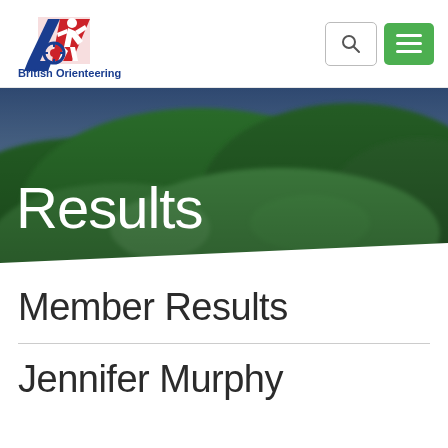British Orienteering
[Figure (photo): Green forested hillside landscape used as hero background image with the word 'Results' overlaid in large white text]
Results
Member Results
Jennifer Murphy